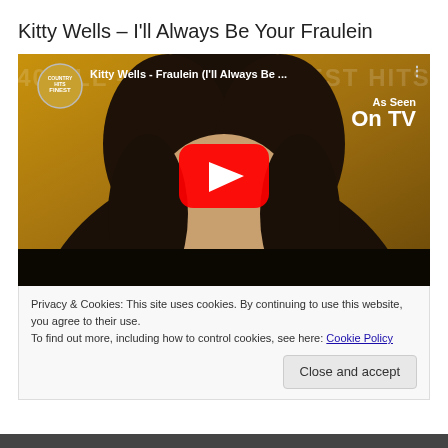Kitty Wells – I'll Always Be Your Fraulein
[Figure (screenshot): YouTube video thumbnail showing Kitty Wells album art with text 'Kitty Wells - Fraulein (I'll Always Be...' and 'As Seen On TV' overlay, with YouTube play button in the center. Channel badge reads 'Country Hits Finest'.]
Privacy & Cookies: This site uses cookies. By continuing to use this website, you agree to their use.
To find out more, including how to control cookies, see here: Cookie Policy
Close and accept